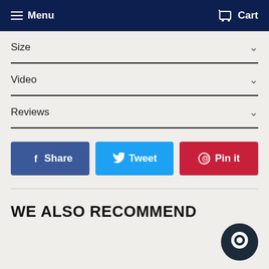Menu | Cart
Size
Video
Reviews
[Figure (screenshot): Three social sharing buttons: Facebook Share (blue), Twitter Tweet (cyan), Pinterest Pin it (red)]
WE ALSO RECOMMEND